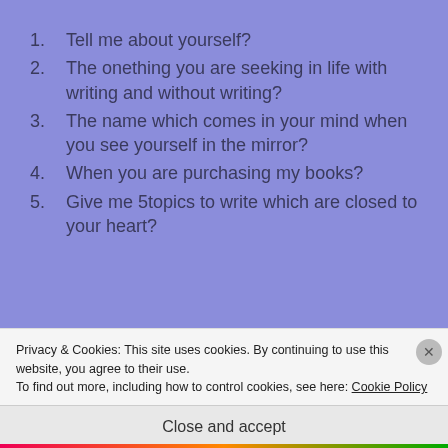1. Tell me about yourself?
2. The onething you are seeking in life with writing and without writing?
3. The name which comes in your mind when you see yourself in the mirror?
4. When you are purchasing my books?
5. Give me 5topics to write which are closed to your heart?
Nominations : see if you know me, you
Privacy & Cookies: This site uses cookies. By continuing to use this website, you agree to their use.
To find out more, including how to control cookies, see here: Cookie Policy
Close and accept